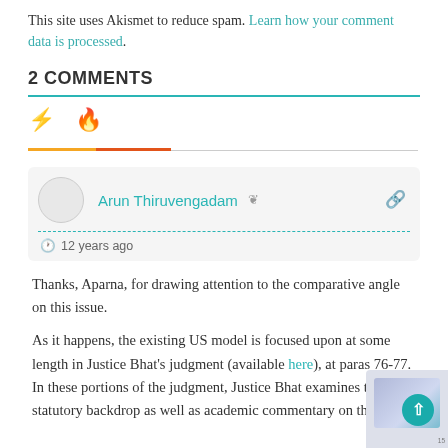This site uses Akismet to reduce spam. Learn how your comment data is processed.
2 COMMENTS
Arun Thiruvengadam  12 years ago
Thanks, Aparna, for drawing attention to the comparative angle on this issue.
As it happens, the existing US model is focused upon at some length in Justice Bhat's judgment (available here), at paras 76-77. In these portions of the judgment, Justice Bhat examines the statutory backdrop as well as academic commentary on the US